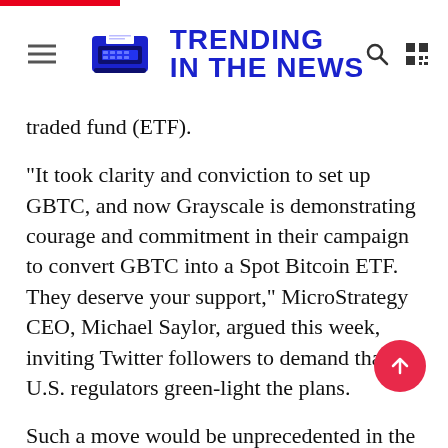TRENDING IN THE NEWS
traded fund (ETF).
“It took clarity and conviction to set up GBTC, and now Grayscale is demonstrating courage and commitment in their campaign to convert GBTC into a Spot Bitcoin ETF. They deserve your support,” MicroStrategy CEO, Michael Saylor, argued this week, inviting Twitter followers to demand that U.S. regulators green-light the plans.
Such a move would be unprecedented in the